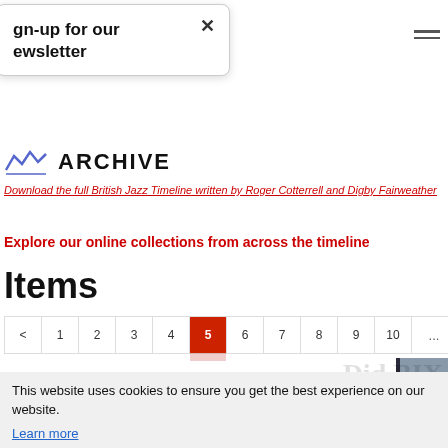gn-up for our ewsletter
Download the full British Jazz Timeline written by Roger Cotterrell and Digby Fairweather
Explore our online collections from across the timeline
Items
< 1 2 3 4 5 6 7 8 9 10 ... 26
This website uses cookies to ensure you get the best experience on our website.
Learn more
Got it!